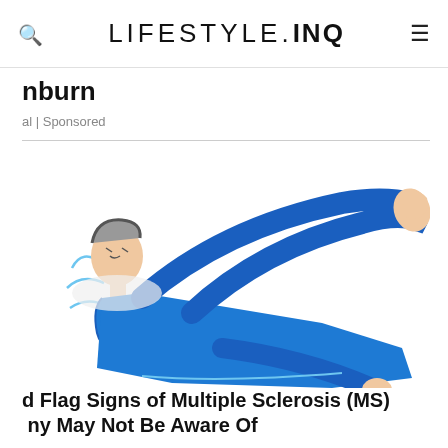LIFESTYLE.INQ
nburn
al | Sponsored
[Figure (illustration): Illustration of a person in a blue outfit lying down or falling, with arms raised, suggesting distress or a neurological symptom related to Multiple Sclerosis]
d Flag Signs of Multiple Sclerosis (MS) ny May Not Be Aware Of